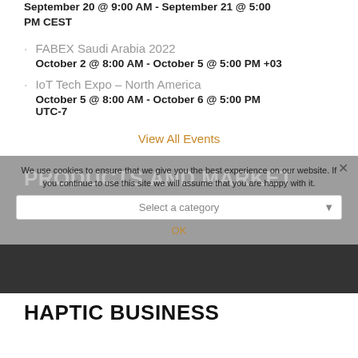September 20 @ 9:00 AM - September 21 @ 5:00 PM CEST
FABEX Saudi Arabia 2022
October 2 @ 8:00 AM - October 5 @ 5:00 PM +03
IoT Tech Expo – North America
October 5 @ 8:00 AM - October 6 @ 5:00 PM UTC-7
View All Events
PRODUCTS AND MARKET RESEARCH REPORTS
We use cookies to ensure that we give you the best experience on our website. If you continue to use this site we will assume that you are happy with it.
Select a category
OK
HAPTIC BUSINESS